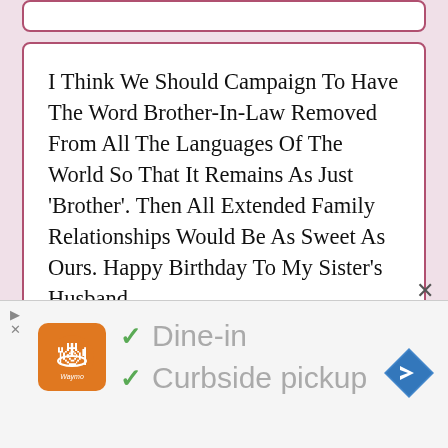I Think We Should Campaign To Have The Word Brother-In-Law Removed From All The Languages Of The World So That It Remains As Just 'Brother'. Then All Extended Family Relationships Would Be As Sweet As Ours. Happy Birthday To My Sister's Husband.
My Dear Brother-In-Law, As Long As You Keep Taking My Side When I Have An Argument With Your Sister, You Will Keep Receiving Cool Gifts On
[Figure (screenshot): Advertisement banner showing a restaurant logo with orange background, checkmarks for 'Dine-in' and 'Curbside pickup' options, and a blue navigation arrow icon]